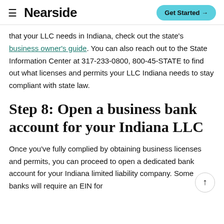Nearside | Get Started →
that your LLC needs in Indiana, check out the state's business owner's guide. You can also reach out to the State Information Center at 317-233-0800, 800-45-STATE to find out what licenses and permits your LLC Indiana needs to stay compliant with state law.
Step 8: Open a business bank account for your Indiana LLC
Once you've fully complied by obtaining business licenses and permits, you can proceed to open a dedicated bank account for your Indiana limited liability company. Some banks will require an EIN for